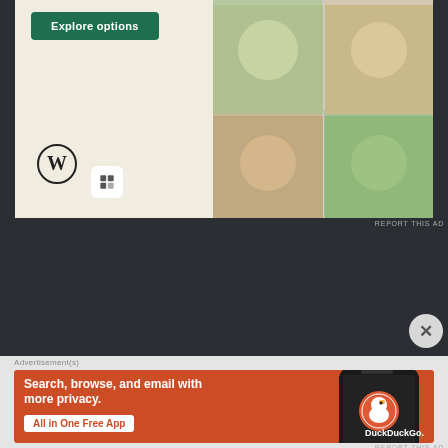[Figure (screenshot): WordPress advertisement banner with 'Explore options' green button, food menu images on right, WordPress logo and icon on left bottom area, on a beige background]
REPORT THIS AD
[Figure (screenshot): DuckDuckGo advertisement banner on orange-red background with text 'Search, browse, and email with more privacy. All in One Free App' and a phone showing DuckDuckGo app on the right]
Advertisement(s)
REPORT THIS AD